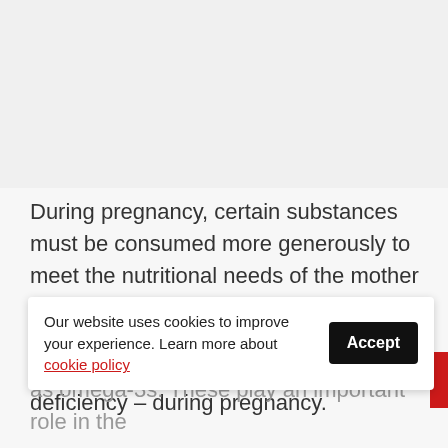[Figure (photo): Top portion of page showing a partially visible image (appears to be a food/nutrition related photo), mostly cropped out of view]
During pregnancy, certain substances must be consumed more generously to meet the nutritional needs of the mother and the baby. This is the case, for example, with iron. Note that 20% of women have anemia – the result of iron deficiency – during pregnancy.
Our website uses cookies to improve your experience. Learn more about cookie policy
as omega-3s. These play an important role in the